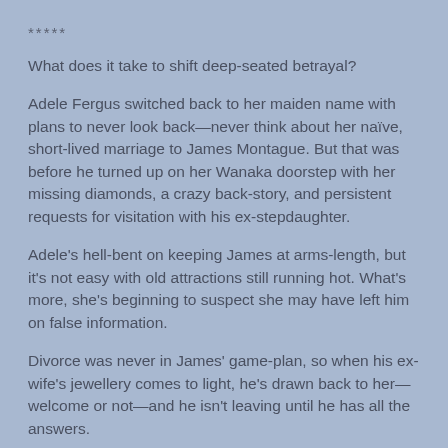*****
What does it take to shift deep-seated betrayal?
Adele Fergus switched back to her maiden name with plans to never look back—never think about her naïve, short-lived marriage to James Montague. But that was before he turned up on her Wanaka doorstep with her missing diamonds, a crazy back-story, and persistent requests for visitation with his ex-stepdaughter.
Adele's hell-bent on keeping James at arms-length, but it's not easy with old attractions still running hot. What's more, she's beginning to suspect she may have left him on false information.
Divorce was never in James' game-plan, so when his ex-wife's jewellery comes to light, he's drawn back to her—welcome or not—and he isn't leaving until he has all the answers.